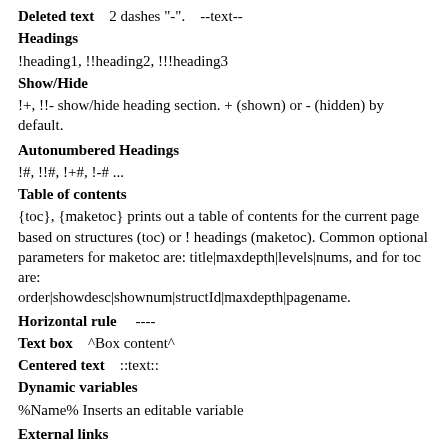Deleted text    2 dashes "-".    --text--
Headings
!heading1, !!heading2, !!!heading3
Show/Hide
!+, !!- show/hide heading section. + (shown) or - (hidden) by default.
Autonumbered Headings
!#, !!#, !+#, !-# ...
Table of contents
{toc}, {maketoc} prints out a table of contents for the current page based on structures (toc) or ! headings (maketoc). Common optional parameters for maketoc are: title|maxdepth|levels|nums, and for toc are: order|showdesc|shownum|structId|maxdepth|pagename.
Horizontal rule    ----
Text box    ^Box content^
Centered text    ::text::
Dynamic variables
%Name% Inserts an editable variable
External links
use square brackets for an external link: [URL], [URL|link_description],[URL|link_description|relation] or [URL|description|relation|nocache] (that last prevents the local